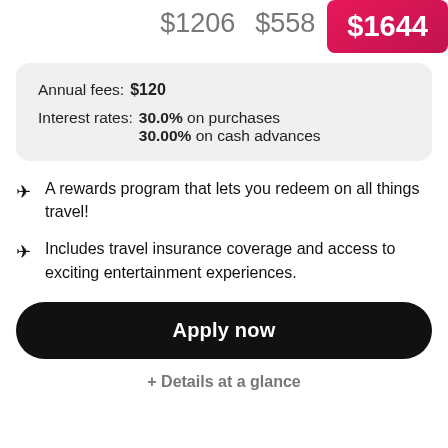$1206  $558  $1644
| Annual fees: | $120 |
| Interest rates: | 30.0% on purchases | 30.00% on cash advances |
A rewards program that lets you redeem on all things travel!
Includes travel insurance coverage and access to exciting entertainment experiences.
Apply now
+ Details at a glance